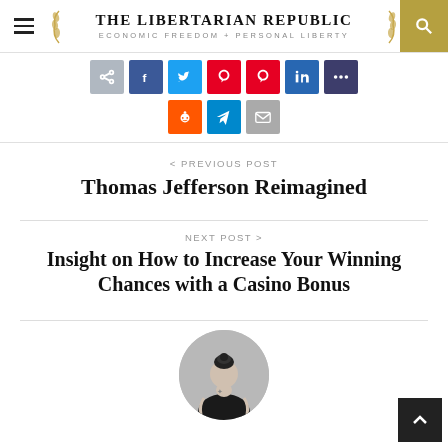THE LIBERTARIAN REPUBLIC — ECONOMIC FREEDOM + PERSONAL LIBERTY
[Figure (infographic): Social media share buttons row: share, Facebook, Twitter, Pinterest, Pinterest, LinkedIn, other; second row: Reddit, Telegram, Email]
< PREVIOUS POST
Thomas Jefferson Reimagined
NEXT POST >
Insight on How to Increase Your Winning Chances with a Casino Bonus
[Figure (photo): Circular black-and-white photo of a woman seen from behind, wearing a strapless top, with her hair up]